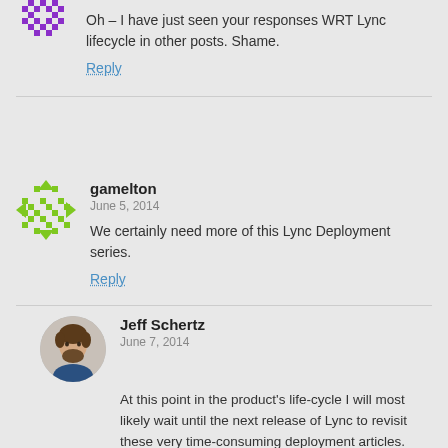Oh – I have just seen your responses WRT Lync lifecycle in other posts. Shame.
Reply
gamelton
June 5, 2014
We certainly need more of this Lync Deployment series.
Reply
Jeff Schertz
June 7, 2014
At this point in the product's life-cycle I will most likely wait until the next release of Lync to revisit these very time-consuming deployment articles. Also, there are already a host of Lync 2013-related deployment articles online provided by other Lync MVPs.